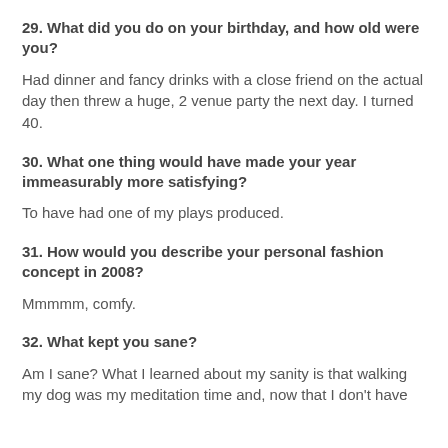29. What did you do on your birthday, and how old were you?
Had dinner and fancy drinks with a close friend on the actual day then threw a huge, 2 venue party the next day. I turned 40.
30. What one thing would have made your year immeasurably more satisfying?
To have had one of my plays produced.
31. How would you describe your personal fashion concept in 2008?
Mmmmm, comfy.
32. What kept you sane?
Am I sane? What I learned about my sanity is that walking my dog was my meditation time and, now that I don't have